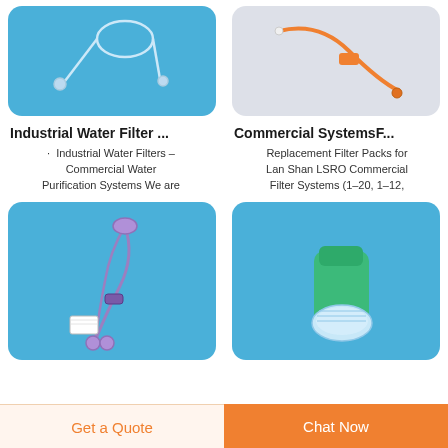[Figure (photo): Medical IV drip tube/filter device on blue background, top-left product card image]
[Figure (photo): Orange medical tube/filter device on light grey/white background, top-right product card image]
Industrial Water Filter ...
· Industrial Water Filters – Commercial Water Purification Systems We are
Commercial SystemsF...
Replacement Filter Packs for Lan Shan LSRO Commercial Filter Systems (1–20, 1–12,
[Figure (photo): Purple/blue IV drip set medical tubing on blue background, bottom-left product card image]
[Figure (photo): Green and clear plastic medical connector/filter device on blue background, bottom-right product card image]